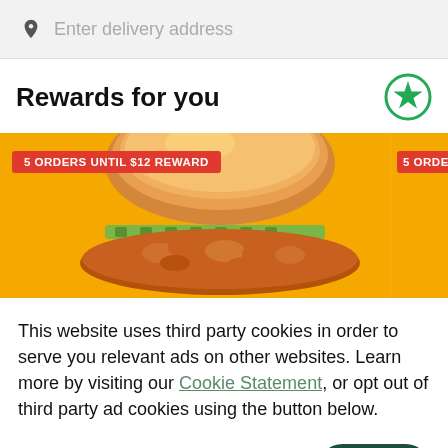Enter delivery address
Rewards for you
[Figure (photo): A fried chicken sandwich with a golden bun and pickles on a yellow/orange background. A badge reads '5 ORDERS UNTIL $12 REWARD'. A partially visible second card on the right also shows '5 ORDER...' badge on an orange background.]
This website uses third party cookies in order to serve you relevant ads on other websites. Learn more by visiting our Cookie Statement, or opt out of third party ad cookies using the button below.